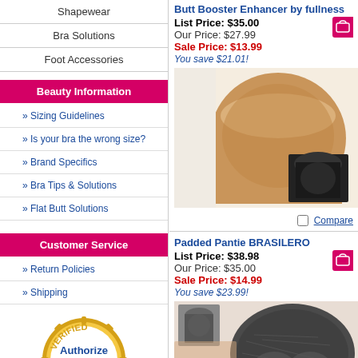Shapewear
Bra Solutions
Foot Accessories
Beauty Information
Sizing Guidelines
Is your bra the wrong size?
Brand Specifics
Bra Tips & Solutions
Flat Butt Solutions
Customer Service
Return Policies
Shipping
[Figure (logo): Authorize.Net Verified Merchant seal/badge]
Accept Credit Cards
Butt Booster Enhancer by fullness
List Price: $35.00
Our Price: $27.99
Sale Price: $13.99
You save $21.01!
[Figure (photo): Product photo of butt booster enhancer underwear in beige/nude and black colors]
Compare
Padded Pantie BRASILERO
List Price: $38.98
Our Price: $35.00
Sale Price: $14.99
You save $23.99!
[Figure (photo): Product photo of Padded Pantie BRASILERO in dark grey/black lace style]